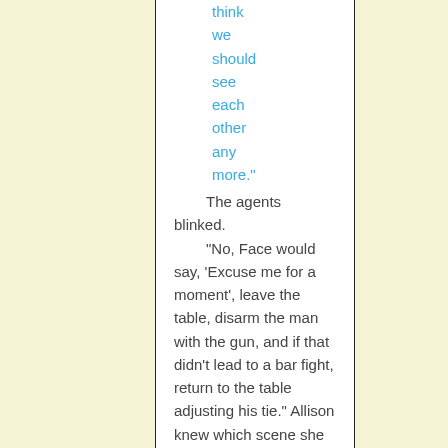think we should see each other any more."
The agents blinked.
"No, Face would say, 'Excuse me for a moment', leave the table, disarm the man with the gun, and if that didn't lead to a bar fight, return to the table adjusting his tie." Allison knew which scene she had expected to see, if Face had been in character.